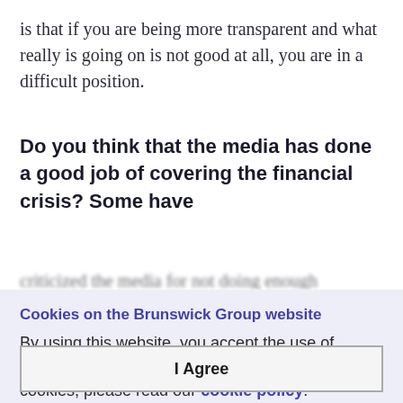is that if you are being more transparent and what really is going on is not good at all, you are in a difficult position.
Do you think that the media has done a good job of covering the financial crisis? Some have
[partially obscured text continues]
Cookies on the Brunswick Group website
By using this website, you accept the use of cookies. For more information on how to manage cookies, please read our cookie policy.
I Agree